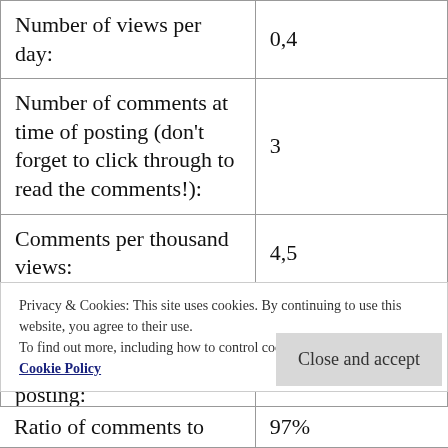| Metric | Value |
| --- | --- |
| Number of views per day: | 0,4 |
| Number of comments at time of posting (don't forget to click through to read the comments!): | 3 |
| Comments per thousand views: | 4,5 |
| Likes at time of posting: | 4 |
| Dislikes at time of posting: | 7 |
| Ratio of comments to | 97% |
Privacy & Cookies: This site uses cookies. By continuing to use this website, you agree to their use. To find out more, including how to control cookies, see here: Our Cookie Policy